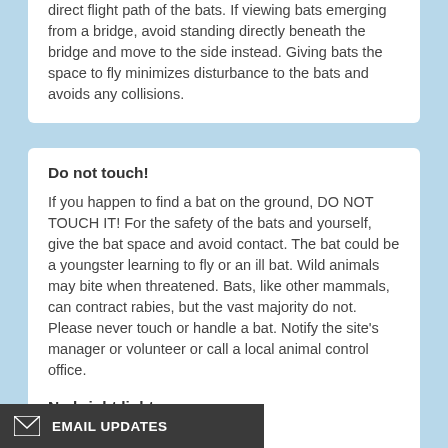direct flight path of the bats. If viewing bats emerging from a bridge, avoid standing directly beneath the bridge and move to the side instead. Giving bats the space to fly minimizes disturbance to the bats and avoids any collisions.
Do not touch!
If you happen to find a bat on the ground, DO NOT TOUCH IT! For the safety of the bats and yourself, give the bat space and avoid contact. The bat could be a youngster learning to fly or an ill bat. Wild animals may bite when threatened. Bats, like other mammals, can contract rabies, but the vast majority do not. Please never touch or handle a bat. Notify the site's manager or volunteer or call a local animal control office.
No bright lights.
pe of light at the bats.
EMAIL UPDATES